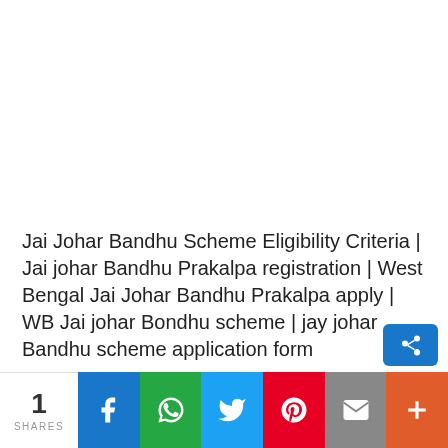Jai Johar Bandhu Scheme Eligibility Criteria | Jai johar Bandhu Prakalpa registration | West Bengal Jai Johar Bandhu Prakalpa apply | WB Jai johar Bondhu scheme | jay johar Bandhu scheme application form
1 SHARES | Facebook | WhatsApp | Twitter | Pinterest | Email | +